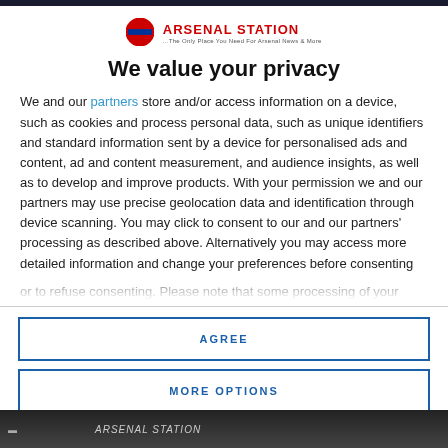[Figure (logo): Arsenal Station logo with London Underground roundel icon and brand name]
We value your privacy
We and our partners store and/or access information on a device, such as cookies and process personal data, such as unique identifiers and standard information sent by a device for personalised ads and content, ad and content measurement, and audience insights, as well as to develop and improve products. With your permission we and our partners may use precise geolocation data and identification through device scanning. You may click to consent to our and our partners' processing as described above. Alternatively you may access more detailed information and change your preferences before consenting or to refuse consenting. Please note that some processing of your
AGREE
MORE OPTIONS